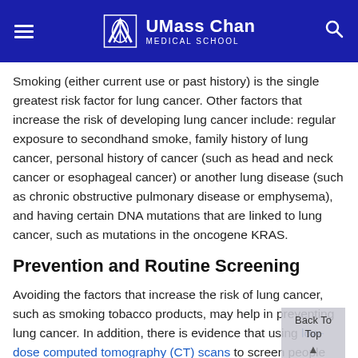UMass Chan Medical School
Smoking (either current use or past history) is the single greatest risk factor for lung cancer. Other factors that increase the risk of developing lung cancer include: regular exposure to secondhand smoke, family history of lung cancer, personal history of cancer (such as head and neck cancer or esophageal cancer) or another lung disease (such as chronic obstructive pulmonary disease or emphysema), and having certain DNA mutations that are linked to lung cancer, such as mutations in the oncogene KRAS.
Prevention and Routine Screening
Avoiding the factors that increase the risk of lung cancer, such as smoking tobacco products, may help in preventing lung cancer. In addition, there is evidence that using low-dose computed tomography (CT) scans to screen people who smoke can help detect lung cancer early and save lives.